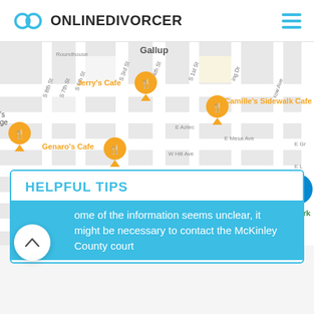ONLINEDIVORCER
[Figure (map): Street map of Gallup, New Mexico showing locations of Jerry's Cafe, Camille's Sidewalk Cafe, Genaro's Cafe, Lincoln School, City of Gallup Dog Park, and Gallup Middle School area]
HELPFUL TIPS
ome of the information seems unclear, it might be necessary to contact the McKinley County court